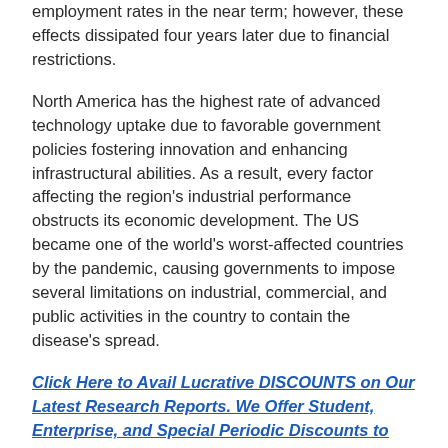employment rates in the near term; however, these effects dissipated four years later due to financial restrictions.
North America has the highest rate of advanced technology uptake due to favorable government policies fostering innovation and enhancing infrastructural abilities. As a result, every factor affecting the region's industrial performance obstructs its economic development. The US became one of the world's worst-affected countries by the pandemic, causing governments to impose several limitations on industrial, commercial, and public activities in the country to contain the disease's spread.
Click Here to Avail Lucrative DISCOUNTS on Our Latest Research Reports. We Offer Student, Enterprise, and Special Periodic Discounts to Our Clientele. Please Fill the Form to Know DISCOUNTED PRICE